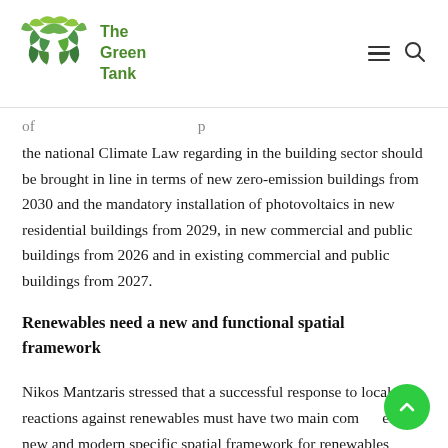The Green Tank
of ... p the national Climate Law regarding in the building sector should be brought in line in terms of new zero-emission buildings from 2030 and the mandatory installation of photovoltaics in new residential buildings from 2029, in new commercial and public buildings from 2026 and in existing commercial and public buildings from 2027.
Renewables need a new and functional spatial framework
Nikos Mantzaris stressed that a successful response to local reactions against renewables must have two main components: a new and modern specific spatial framework for renewables